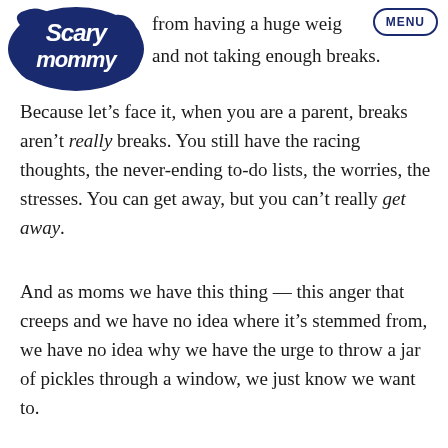Scary Mommy [logo] from having a huge weig... MENU and not taking enough breaks.
Because let’s face it, when you are a parent, breaks aren’t really breaks. You still have the racing thoughts, the never-ending to-do lists, the worries, the stresses. You can get away, but you can’t really get away.
And as moms we have this thing — this anger that creeps and we have no idea where it’s stemmed from, we have no idea why we have the urge to throw a jar of pickles through a window, we just know we want to.